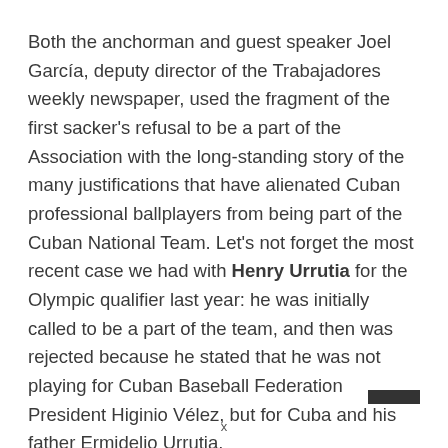Both the anchorman and guest speaker Joel García, deputy director of the Trabajadores weekly newspaper, used the fragment of the first sacker's refusal to be a part of the Association with the long-standing story of the many justifications that have alienated Cuban professional ballplayers from being part of the Cuban National Team. Let's not forget the most recent case we had with Henry Urrutia for the Olympic qualifier last year: he was initially called to be a part of the team, and then was rejected because he stated that he was not playing for Cuban Baseball Federation President Higinio Vélez, but for Cuba and his father Ermidelio Urrutia.